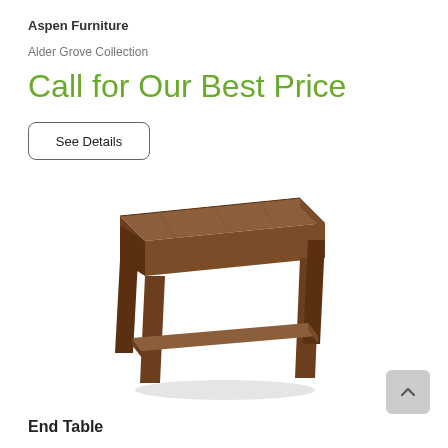Aspen Furniture
Alder Grove Collection
Call for Our Best Price
See Details
[Figure (photo): A wooden end table with a square top and lower shelf, rustic brown finish, two-tier design with sturdy legs, from the Alder Grove Collection by Aspen Furniture.]
End Table